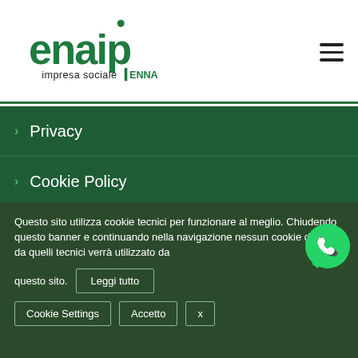[Figure (logo): Enaip impresa sociale Enna green logo]
Privacy
Cookie Policy
Covid-19
[Figure (logo): WhatsApp green circle button icon]
Questo sito utilizza cookie tecnici per funzionare al meglio. Chiudendo questo banner e continuando nella navigazione nessun cookie diverso da quelli tecnici verrà utilizzato da questo sito.
Leggi tutto | Cookie Settings | Accetto | x